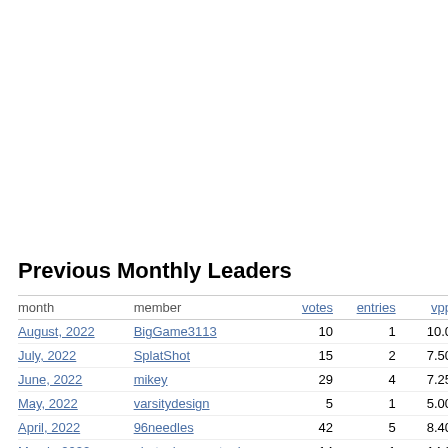Previous Monthly Leaders
| month | member | votes | entries | vpp |
| --- | --- | --- | --- | --- |
| August, 2022 | BigGame3113 | 10 | 1 | 10.0 |
| July, 2022 | SplatShot | 15 | 2 | 7.50 |
| June, 2022 | mikey | 29 | 4 | 7.25 |
| May, 2022 | varsitydesign | 5 | 1 | 5.00 |
| April, 2022 | 96needles | 42 | 5 | 8.40 |
| March, 2022 | photoshopmaster jr | 14 | 1 | 14.0 |
| February, 2022 | SplatShot | 41 | 4 | 10.2 |
| January, 2022 | DaVinci | 10 | 1 | 10.0 |